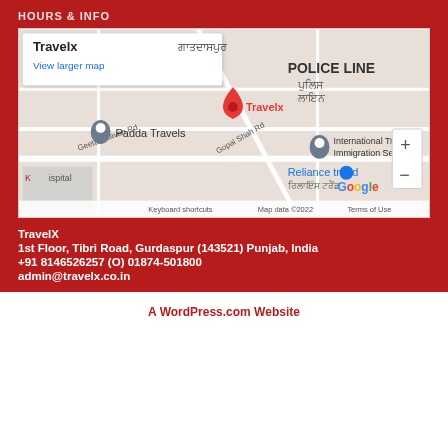HOURS & INFO
[Figure (map): Google Maps screenshot showing location of Travelx on Tibri Road, Gurdaspur, Punjab, India. Nearby landmarks include Padda Travels, Police Line, International Tra... Immigration Ser..., Reliance trend, and K...ispital. Map shows Geeta Bhavan Rd, Gopal Shah Rd. Keyboard shortcuts, Map data ©2022, Terms of Use shown at bottom.]
TravelX
1st Floor, Tibri Road, Gurdaspur (143521) Punjab, India
+91 8146526257 (O) 01874-501800
admin@travelx.co.in
A WordPress.com Website